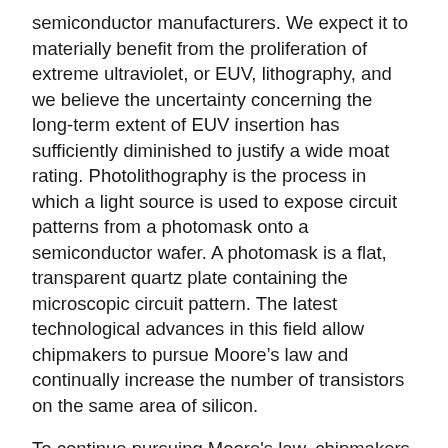semiconductor manufacturers. We expect it to materially benefit from the proliferation of extreme ultraviolet, or EUV, lithography, and we believe the uncertainty concerning the long-term extent of EUV insertion has sufficiently diminished to justify a wide moat rating. Photolithography is the process in which a light source is used to expose circuit patterns from a photomask onto a semiconductor wafer. A photomask is a flat, transparent quartz plate containing the microscopic circuit pattern. The latest technological advances in this field allow chipmakers to pursue Moore’s law and continually increase the number of transistors on the same area of silicon.
To continue pursuing Moore's law, chipmakers will require EUV lithography tools. EUV uses lower-wavelength light (13.5-nm versus 193-nm for current immersion tools) and